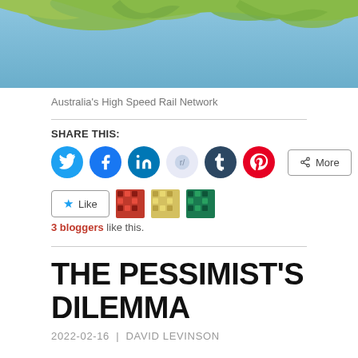[Figure (map): Satellite/relief map showing Australia's High Speed Rail Network, with blue ocean background and landmass visible at top]
Australia's High Speed Rail Network
SHARE THIS:
[Figure (infographic): Social sharing buttons: Twitter, Facebook, LinkedIn, Reddit, Tumblr, Pinterest, and More button]
[Figure (infographic): Like button with star icon, and three blogger avatar thumbnails. Text: 3 bloggers like this.]
3 bloggers like this.
THE PESSIMIST'S DILEMMA
2022-02-16  |  DAVID LEVINSON